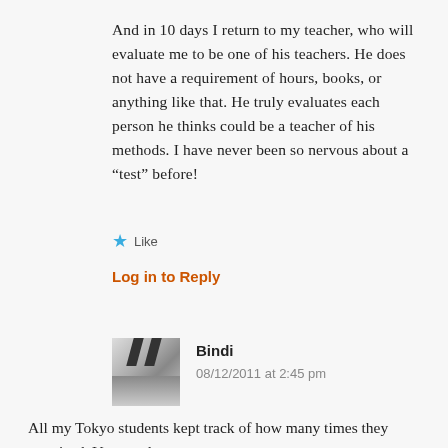And in 10 days I return to my teacher, who will evaluate me to be one of his teachers. He does not have a requirement of hours, books, or anything like that. He truly evaluates each person he thinks could be a teacher of his methods. I have never been so nervous about a “test” before!
★ Like
Log in to Reply
[Figure (photo): Avatar image of commenter Bindi, showing a black and white abstract pattern]
Bindi
08/12/2011 at 2:45 pm
All my Tokyo students kept track of how many times they practiced. Very cool